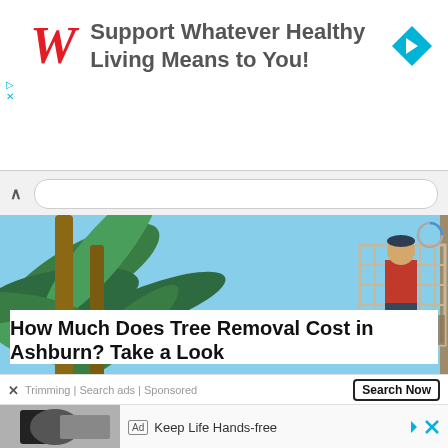[Figure (screenshot): Walgreens advertisement banner: red italic W logo on left, text 'Support Whatever Healthy Living Means to You!' in gray bold, blue diamond navigation icon on right]
How Much Does Tree Removal Cost in Ashburn? Take a Look
[Figure (photo): Worker in red shirt standing on elevated metal scaffold cage near palm trees with blue sky background]
Trimming | Search ads | Sponsored
[Figure (screenshot): Bottom advertisement: Ad badge, image of hands holding bag, text 'Keep Life Hands-free']